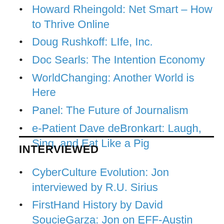Howard Rheingold: Net Smart – How to Thrive Online
Doug Rushkoff: LIfe, Inc.
Doc Searls: The Intention Economy
WorldChanging: Another World is Here
Panel: The Future of Journalism
e-Patient Dave deBronkart: Laugh, Sing, and Eat Like a Pig
INTERVIEWED
CyberCulture Evolution: Jon interviewed by R.U. Sirius
FirstHand History by David SoucieGarza: Jon on EFF-Austin